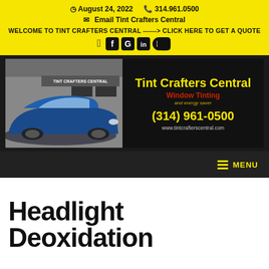August 24, 2022   314.961.0500   Email Tint Crafters Central   WELCOME TO TINT CRAFTERS CENTRAL -------> CLICK HERE TO GET A QUOTE
[Figure (logo): Tint Crafters Central banner with blue Corvette, company name in yellow, Window Tinting subtitle in red, phone (314) 961-0500, and website www.tintcrafterscentral.com]
MENU
Headlight Deoxidation